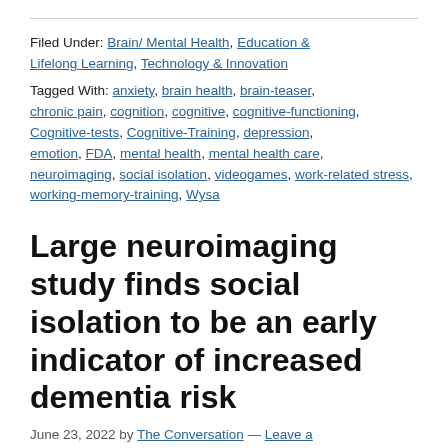Filed Under: Brain/ Mental Health, Education & Lifelong Learning, Technology & Innovation
Tagged With: anxiety, brain health, brain-teaser, chronic pain, cognition, cognitive, cognitive-functioning, Cognitive-tests, Cognitive-Training, depression, emotion, FDA, mental health, mental health care, neuroimaging, social isolation, videogames, work-related stress, working-memory-training, Wysa
Large neuroimaging study finds social isolation to be an early indicator of increased dementia risk
June 23, 2022 by The Conversation — Leave a